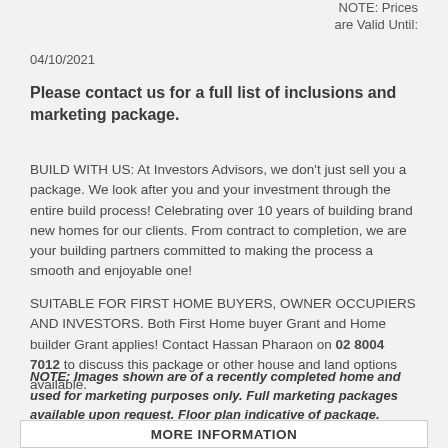NOTE: Prices are Valid Until: 04/10/2021
Please contact us for a full list of inclusions and marketing package.
BUILD WITH US: At Investors Advisors, we don't just sell you a package. We look after you and your investment through the entire build process! Celebrating over 10 years of building brand new homes for our clients. From contract to completion, we are your building partners committed to making the process a smooth and enjoyable one!
SUITABLE FOR FIRST HOME BUYERS, OWNER OCCUPIERS AND INVESTORS. Both First Home buyer Grant and Home builder Grant applies! Contact Hassan Pharaon on 02 8004 7012 to discuss this package or other house and land options available.
NOTE: Images shown are of a recently completed home and used for marketing purposes only. Full marketing packages available upon request. Floor plan indicative of package.
MORE INFORMATION